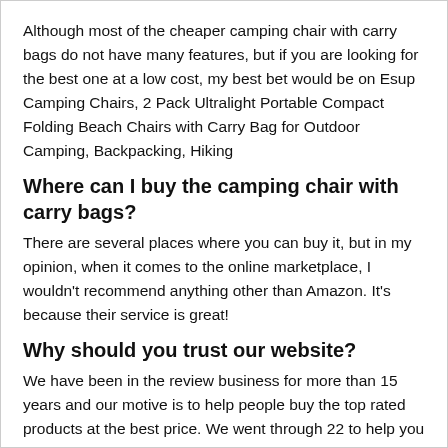Although most of the cheaper camping chair with carry bags do not have many features, but if you are looking for the best one at a low cost, my best bet would be on Esup Camping Chairs, 2 Pack Ultralight Portable Compact Folding Beach Chairs with Carry Bag for Outdoor Camping, Backpacking, Hiking
Where can I buy the camping chair with carry bags?
There are several places where you can buy it, but in my opinion, when it comes to the online marketplace, I wouldn't recommend anything other than Amazon. It's because their service is great!
Why should you trust our website?
We have been in the review business for more than 15 years and our motive is to help people buy the top rated products at the best price. We went through 22 to help you find the best camping chair with carry bags